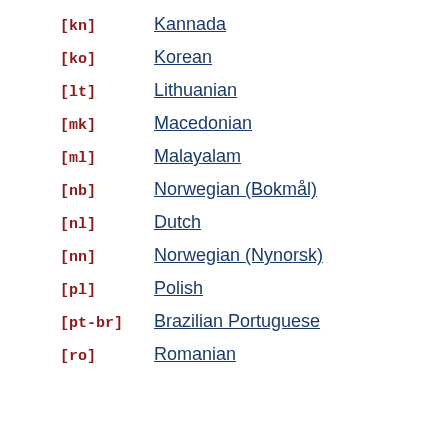[kn]  Kannada
[ko]  Korean
[lt]  Lithuanian
[mk]  Macedonian
[ml]  Malayalam
[nb]  Norwegian (Bokmål)
[nl]  Dutch
[nn]  Norwegian (Nynorsk)
[pl]  Polish
[pt-br]  Brazilian Portuguese
[ro]  Romanian